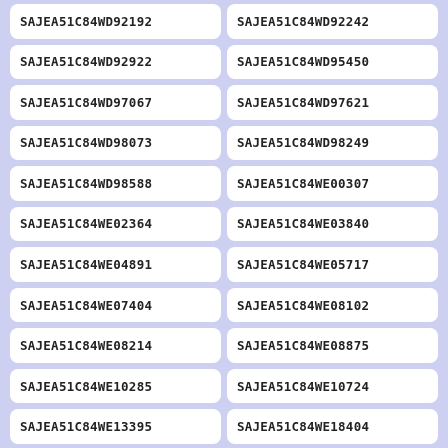SAJEA51C84WD92192
SAJEA51C84WD92242
SAJEA51C84WD92922
SAJEA51C84WD95450
SAJEA51C84WD97067
SAJEA51C84WD97621
SAJEA51C84WD98073
SAJEA51C84WD98249
SAJEA51C84WD98588
SAJEA51C84WE00307
SAJEA51C84WE02364
SAJEA51C84WE03840
SAJEA51C84WE04891
SAJEA51C84WE05717
SAJEA51C84WE07404
SAJEA51C84WE08102
SAJEA51C84WE08214
SAJEA51C84WE08875
SAJEA51C84WE10285
SAJEA51C84WE10724
SAJEA51C84WE13395
SAJEA51C84WE18404